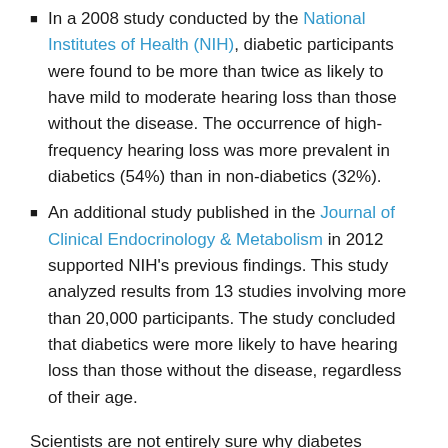In a 2008 study conducted by the National Institutes of Health (NIH), diabetic participants were found to be more than twice as likely to have mild to moderate hearing loss than those without the disease. The occurrence of high-frequency hearing loss was more prevalent in diabetics (54%) than in non-diabetics (32%).
An additional study published in the Journal of Clinical Endocrinology & Metabolism in 2012 supported NIH's previous findings. This study analyzed results from 13 studies involving more than 20,000 participants. The study concluded that diabetics were more likely to have hearing loss than those without the disease, regardless of their age.
Scientists are not entirely sure why diabetes negatively impacts the sense of hearing; however, they suspect high blood glucose levels cause damage to the small blood vessels in the inner ear.